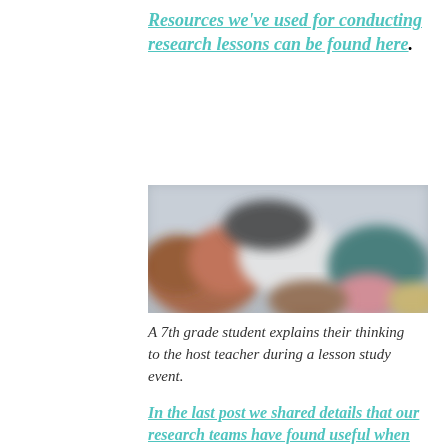Resources we've used for conducting research lessons can be found here.
[Figure (photo): A blurred photo of a 7th grade student explaining their thinking to a host teacher during a lesson study event. The image shows people in a classroom setting with warm and cool tones.]
A 7th grade student explains their thinking to the host teacher during a lesson study event.
In the last post we shared details that our research teams have found useful when conducting a public